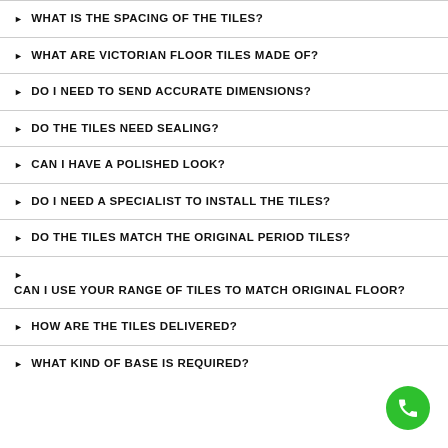WHAT IS THE SPACING OF THE TILES?
WHAT ARE VICTORIAN FLOOR TILES MADE OF?
DO I NEED TO SEND ACCURATE DIMENSIONS?
DO THE TILES NEED SEALING?
CAN I HAVE A POLISHED LOOK?
DO I NEED A SPECIALIST TO INSTALL THE TILES?
DO THE TILES MATCH THE ORIGINAL PERIOD TILES?
CAN I USE YOUR RANGE OF TILES TO MATCH ORIGINAL FLOOR?
HOW ARE THE TILES DELIVERED?
WHAT KIND OF BASE IS REQUIRED?
[Figure (illustration): Green circular phone/call button icon in bottom right corner]